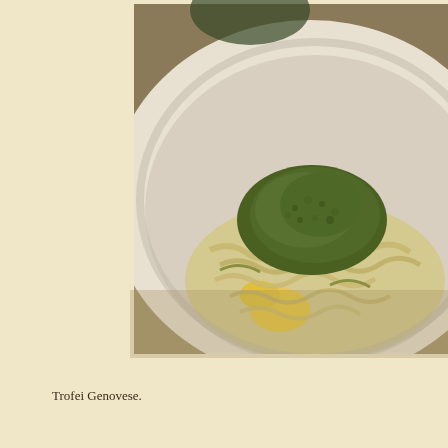[Figure (photo): A white bowl of trofie pasta with pesto sauce and potato pieces, photographed from above at an angle on a restaurant table.]
Trofei Genovese.
[Figure (photo): A partial view of a wine glass and table setting, photographed close up.]